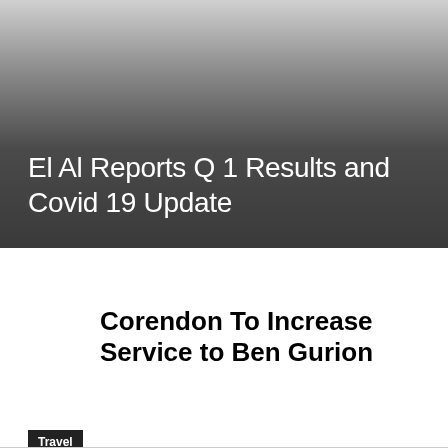El Al Reports Q 1 Results and Covid 19 Update
Corendon To Increase Service to Ben Gurion
Travel